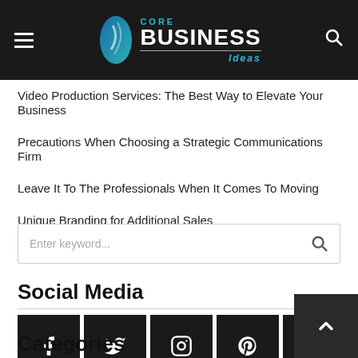CORE BUSINESS Ideas
Video Production Services: The Best Way to Elevate Your Business
Precautions When Choosing a Strategic Communications Firm
Leave It To The Professionals When It Comes To Moving
Unique Branding for Additional Sales
Enter keyword...
Social Media
[Figure (infographic): Row of 6 social media icon buttons (Facebook, Twitter, Instagram, Pinterest, Behance, YouTube) on black square backgrounds]
Categories